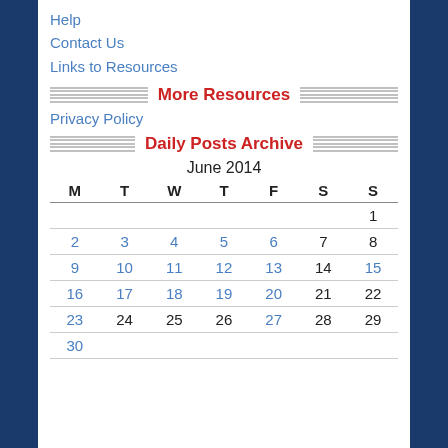Help
Contact Us
Links to Resources
More Resources
Privacy Policy
Daily Posts Archive
| M | T | W | T | F | S | S |
| --- | --- | --- | --- | --- | --- | --- |
|  |  |  |  |  |  | 1 |
| 2 | 3 | 4 | 5 | 6 | 7 | 8 |
| 9 | 10 | 11 | 12 | 13 | 14 | 15 |
| 16 | 17 | 18 | 19 | 20 | 21 | 22 |
| 23 | 24 | 25 | 26 | 27 | 28 | 29 |
| 30 |  |  |  |  |  |  |